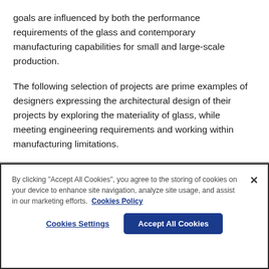goals are influenced by both the performance requirements of the glass and contemporary manufacturing capabilities for small and large-scale production.
The following selection of projects are prime examples of designers expressing the architectural design of their projects by exploring the materiality of glass, while meeting engineering requirements and working within manufacturing limitations.
By clicking "Accept All Cookies", you agree to the storing of cookies on your device to enhance site navigation, analyze site usage, and assist in our marketing efforts. Cookies Policy
Cookies Settings | Accept All Cookies